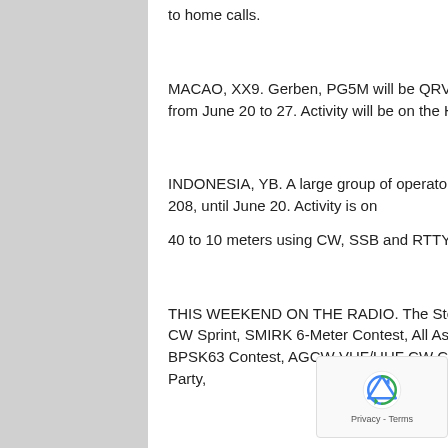to home calls.
MACAO, XX9.  Gerben, PG5M will be QRV as XX9TGM from the Grand Coloane Resort, IOTA AS-075, from June 20 to 27.  Activity will be on the HF bands using only CW.  QSL to home call.
INDONESIA, YB.  A large group of operators are QRV as YB8O from various Banggai Islands, IOTA OC-208, until June 20.  Activity is on
40 to 10 meters using CW, SSB and RTTY.  QSL via YB8RW.
THIS WEEKEND ON THE RADIO.  The Stew Perry Topband CW Challenge, NCCC RTTY Sprint, NCCC CW Sprint, SMIRK 6-Meter Contest, All Asian DX CW Contest, Ukrainian DX Classic RTTY Contest, ARR BPSK63 Contest, AGCW VHF/UHF CW Contest, IARU Region 1 50 MHz Contest, West Virginia QSO Party,